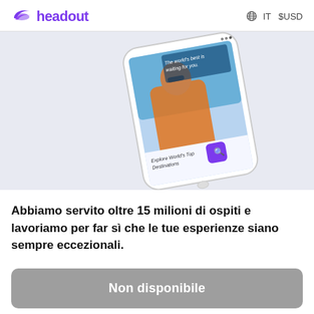headout  IT  $USD
[Figure (screenshot): Screenshot of the Headout mobile app showing a person in an orange jacket carrying someone on their back, smiling. The app screen reads 'The world's best is waiting for you.' and 'Explore World's Top Destinations' with a purple search button.]
Abbiamo servito oltre 15 milioni di ospiti e lavoriamo per far sì che le tue esperienze siano sempre eccezionali.
Non disponibile